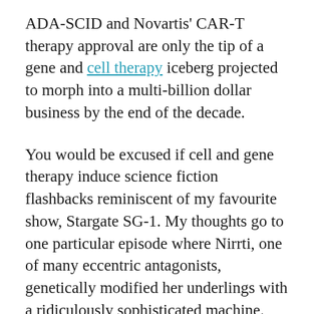ADA-SCID and Novartis' CAR-T therapy approval are only the tip of a gene and cell therapy iceberg projected to morph into a multi-billion dollar business by the end of the decade.
You would be excused if cell and gene therapy induce science fiction flashbacks reminiscent of my favourite show, Stargate SG-1. My thoughts go to one particular episode where Nirrti, one of many eccentric antagonists, genetically modified her underlings with a ridiculously sophisticated machine.
Technological breakthroughs are indeed